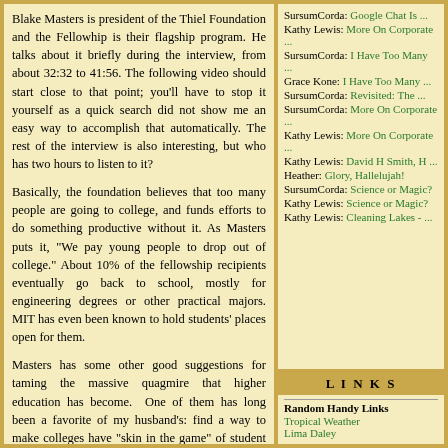Blake Masters is president of the Thiel Foundation and the Fellowhip is their flagship program. He talks about it briefly during the interview, from about 32:32 to 41:56. The following video should start close to that point; you'll have to stop it yourself as a quick search did not show me an easy way to accomplish that automatically. The rest of the interview is also interesting, but who has two hours to listen to it?
Basically, the foundation believes that too many people are going to college, and funds efforts to do something productive without it. As Masters puts it, "We pay young people to drop out of college." About 10% of the fellowship recipients eventually go back to school, mostly for engineering degrees or other practical majors. MIT has even been known to hold students' places open for them.
Masters has some other good suggestions for taming the massive quagmire that higher education has become.  One of them has long been a favorite of my husband's: find a way to make colleges have "skin in the game" of student loans. Right now they have every incentive to push students toward massive, unmanageable
SursumCorda: Google Chat Is ...
Kathy Lewis: More On Corporate ...
SursumCorda: I Have Too Many ...
Grace Kone: I Have Too Many ...
SursumCorda: Revisited: The ...
SursumCorda: More On Corporate ...
Kathy Lewis: More On Corporate ...
Kathy Lewis: David H Smith, H ...
Heather: Glory, Hallelujah!
SursumCorda: Science or Magic?
Kathy Lewis: Science or Magic?
Kathy Lewis: Cleaning Lakes - ...
LINKS
Random Handy Links
Tropical Weather
Lima Daley